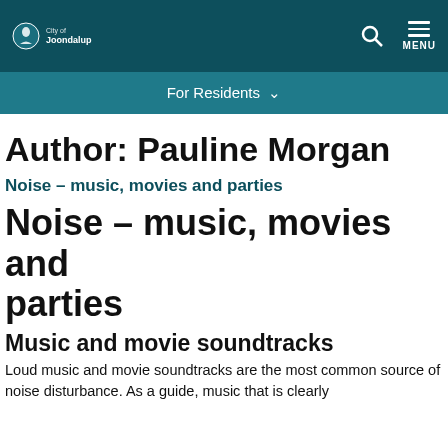[Figure (screenshot): City of Joondalup website navigation header with logo, search icon, and hamburger menu]
For Residents ˅
Author: Pauline Morgan
Noise – music, movies and parties
Noise – music, movies and parties
Music and movie soundtracks
Loud music and movie soundtracks are the most common source of noise disturbance. As a guide, music that is clearly